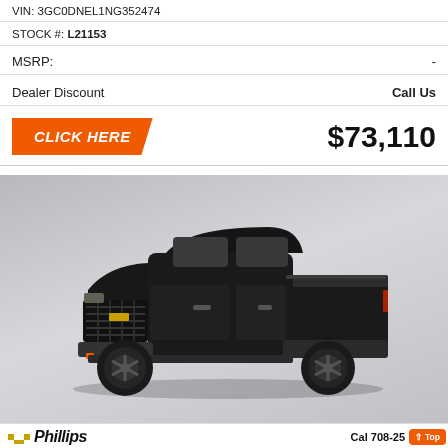VIN: 3GC0DNEL1NG352474
STOCK #: L21153
MSRP: -
Dealer Discount  Call Us
CLICK HERE  $73,110
[Figure (photo): Black Chevrolet Silverado pickup truck on a grey gradient background, studio shot, three-quarter front view from the left side.]
[Figure (logo): Phillips Chevrolet dealer logo with gold Chevy bowtie emblem and stylized italic Phillips text]
Call 708-25...